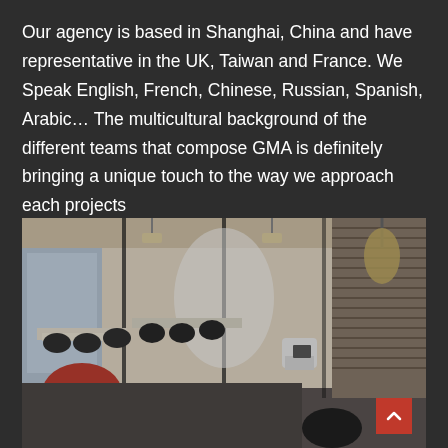Our agency is based in Shanghai, China and have representative in the UK, Taiwan and France. We Speak English, French, Chinese, Russian, Spanish, Arabic… The multicultural background of the different teams that compose GMA is definitely bringing a unique touch to the way we approach each projects
[Figure (photo): Interior photo of a modern open-plan office with glass partitions, work desks with office chairs, pendant lighting, venetian blinds on the right side, and a round white coffee table with black chairs in the foreground.]